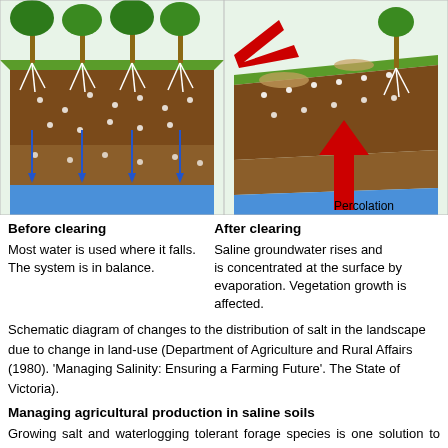[Figure (schematic): Two-panel schematic diagram showing soil cross-sections. Left panel: 'Before clearing' showing trees with roots, balanced groundwater. Right panel: 'After clearing' showing saline groundwater rising with a red upward arrow labeled 'Percolation', red runoff arrow, and affected vegetation.]
Before clearing
Most water is used where it falls.
The system is in balance.
After clearing
Saline groundwater rises and is concentrated at the surface by evaporation. Vegetation growth is affected.
Schematic diagram of changes to the distribution of salt in the landscape due to change in land-use (Department of Agriculture and Rural Affairs (1980). 'Managing Salinity: Ensuring a Farming Future'. The State of Victoria).
Managing agricultural production in saline soils
Growing salt and waterlogging tolerant forage species is one solution to maintain agricultural production in salt affected areas or where saline water is used for irrigation. However, most commercially available forage species are sensitive to both salinity and waterlogging (refer Salinity Indicator Plants). There is a need to identify further plant species for saline areas that will provide both agricultural production and